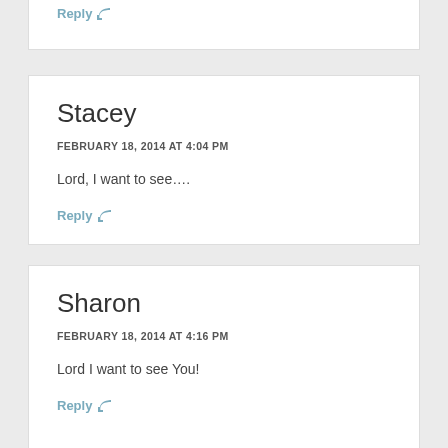Reply ↩
Stacey
FEBRUARY 18, 2014 AT 4:04 PM
Lord, I want to see….
Reply ↩
Sharon
FEBRUARY 18, 2014 AT 4:16 PM
Lord I want to see You!
Reply ↩